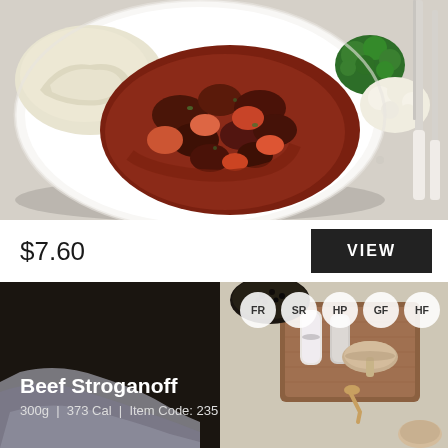[Figure (photo): Overhead view of a white plate with beef stew in tomato sauce, mashed potatoes, broccoli and cauliflower, on a stone surface with cutlery]
$7.60
VIEW
[Figure (photo): Beef Stroganoff meal card with mushrooms and kitchen props on stone surface background]
FR SR HP GF HF
Beef Stroganoff
300g  |  373 Cal  |  Item Code: 235